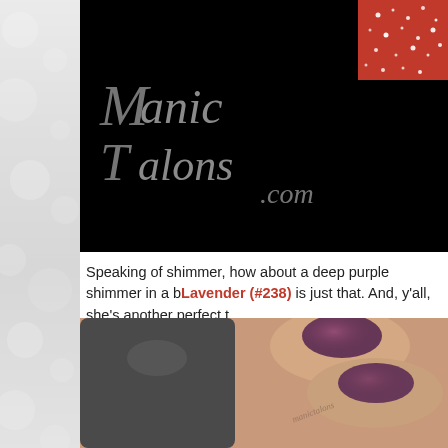[Figure (photo): Manic Talons logo on black background with red glitter nail polish bottle top in upper right corner]
Speaking of shimmer, how about a deep purple shimmer in a b... Lavender (#238) is just that. And, y'all, she's another perfect t...
[Figure (photo): Close-up photo of hand with deep purple/mauve shimmer nail polish applied to nails, with dark nail polish bottle in foreground, manictalons watermark visible]